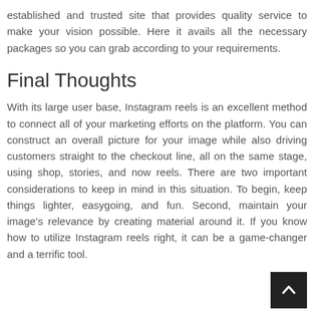established and trusted site that provides quality service to make your vision possible. Here it avails all the necessary packages so you can grab according to your requirements.
Final Thoughts
With its large user base, Instagram reels is an excellent method to connect all of your marketing efforts on the platform. You can construct an overall picture for your image while also driving customers straight to the checkout line, all on the same stage, using shop, stories, and now reels. There are two important considerations to keep in mind in this situation. To begin, keep things lighter, easygoing, and fun. Second, maintain your image’s relevance by creating material around it. If you know how to utilize Instagram reels right, it can be a game-changer and a terrific tool.